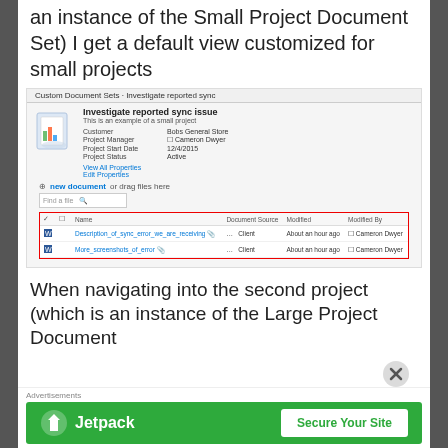an instance of the Small Project Document Set) I get a default view customized for small projects
[Figure (screenshot): Screenshot of SharePoint Custom Document Sets page showing 'Investigate reported sync issue' project with properties (Customer: Bobs General Store, Project Manager: Cameron Dwyer, Project Start Date: 12/4/2015, Project Status: Active) and a file list containing Description_of_sync_error_we_are_receiving and More_screenshots_of_error documents, both from Client source, modified About an hour ago by Cameron Dwyer.]
When navigating into the second project (which is an instance of the Large Project Document
[Figure (screenshot): Advertisement banner: Jetpack - Secure Your Site]